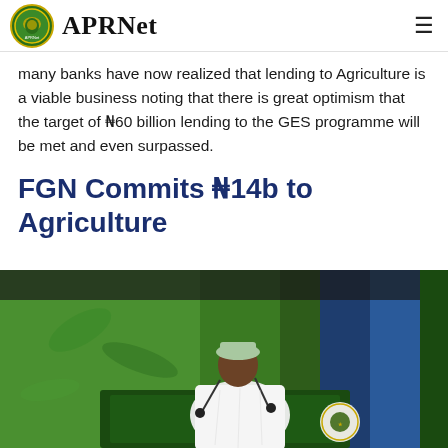APRNet
many banks have now realized that lending to Agriculture is a viable business noting that there is great optimism that the target of ₦60 billion lending to the GES programme will be met and even surpassed.
FGN Commits ₦14b to Agriculture
[Figure (photo): A man in traditional Nigerian attire and cap speaking at a podium with a green lectern bearing a presidential seal, in front of a green screen backdrop]